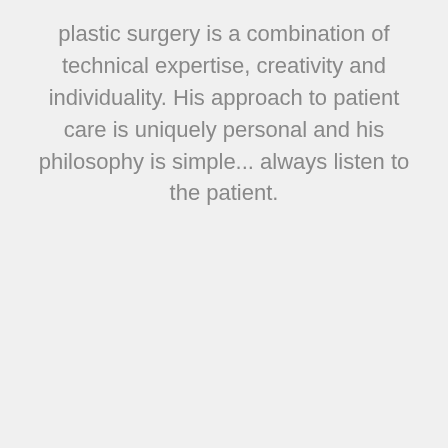plastic surgery is a combination of technical expertise, creativity and individuality. His approach to patient care is uniquely personal and his philosophy is simple... always listen to the patient.
[Figure (screenshot): Embedded video player showing 'No compatible source was found for this media.' message over a Tampa/city skyline background with a red diagonal graphic element and an X close button. Right side shows thumbnail strip with ABC Action News branding and city night scene.]